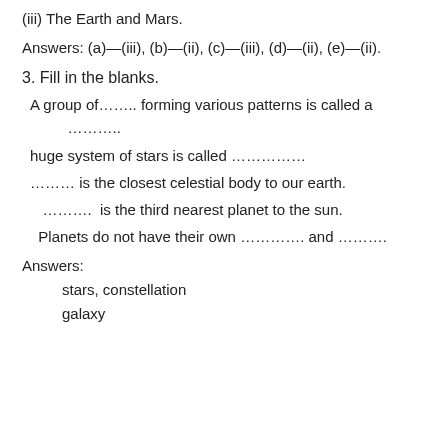(iii) The Earth and Mars.
Answers: (a)—(iii), (b)—(ii), (c)—(iii), (d)—(ii), (e)—(ii).
3. Fill in the blanks.
A group of…….. forming various patterns is called a ………..
huge system of stars is called ……………
……… is the closest celestial body to our earth.
………. is the third nearest planet to the sun.
Planets do not have their own …………. and ……….
Answers:
stars, constellation
galaxy